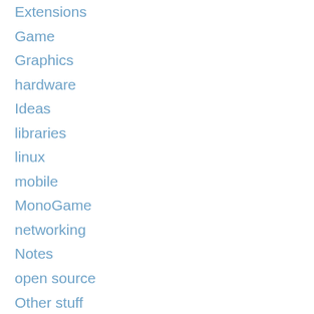Extensions
Game
Graphics
hardware
Ideas
libraries
linux
mobile
MonoGame
networking
Notes
open source
Other stuff
pointers
puzzle
question
rants
raspberry-pi